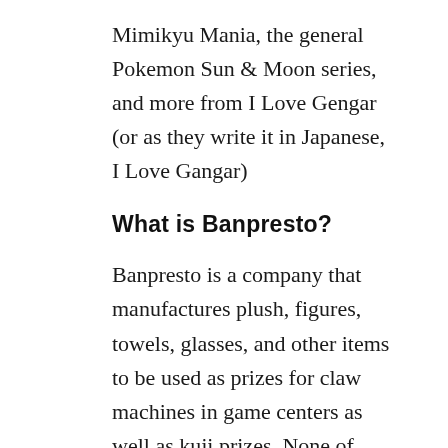Mimikyu Mania, the general Pokemon Sun & Moon series, and more from I Love Gengar (or as they write it in Japanese, I Love Gangar)
What is Banpresto?
Banpresto is a company that manufactures plush, figures, towels, glasses, and other items to be used as prizes for claw machines in game centers as well as kuji prizes. None of these items are designed to be sold directly through stores and cannot be found in Pokemon Centers. Note that the